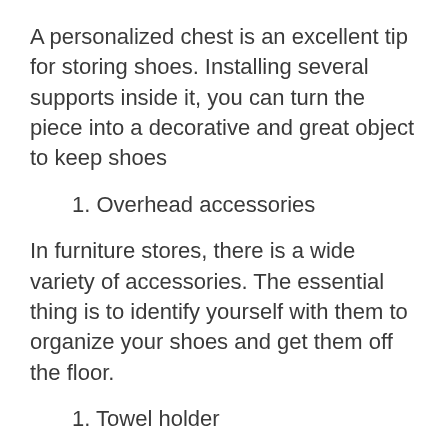A personalized chest is an excellent tip for storing shoes. Installing several supports inside it, you can turn the piece into a decorative and great object to keep shoes
1. Overhead accessories
In furniture stores, there is a wide variety of accessories. The essential thing is to identify yourself with them to organize your shoes and get them off the floor.
1. Towel holder
The towel racks are great for hanging shoes too. By installing some of these accessories on the wall, you can leave your most used (daily) pairs in it.